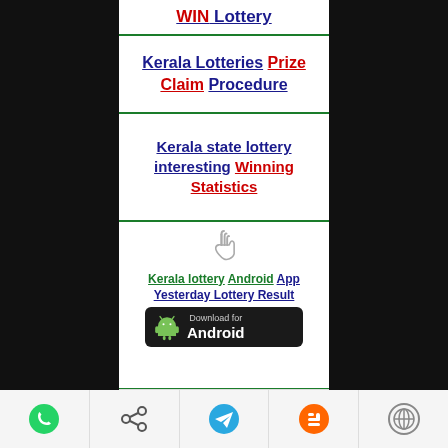WIN Lottery
Kerala Lotteries Prize Claim Procedure
Kerala state lottery interesting Winning Statistics
[Figure (illustration): Pointing hand cursor icon in gray outline style]
Kerala lottery Android App
Yesterday Lottery Result
[Figure (screenshot): Download for Android badge with green Android robot logo on black background]
[Figure (illustration): Footer social sharing bar with WhatsApp, Share, Telegram, Blogger, and WordPress icons]